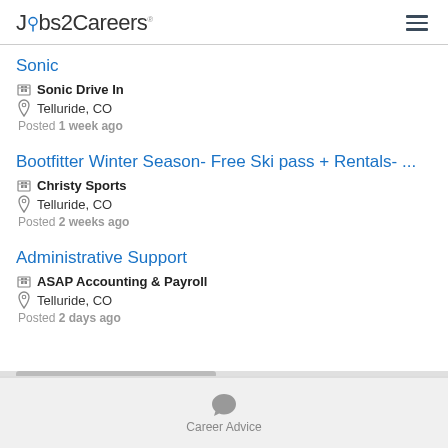Jobs2Careers
Sonic | Sonic Drive In | Telluride, CO | Posted 1 week ago
Bootfitter Winter Season- Free Ski pass + Rentals- ... | Christy Sports | Telluride, CO | Posted 2 weeks ago
Administrative Support | ASAP Accounting & Payroll | Telluride, CO | Posted 2 days ago
Career Advice